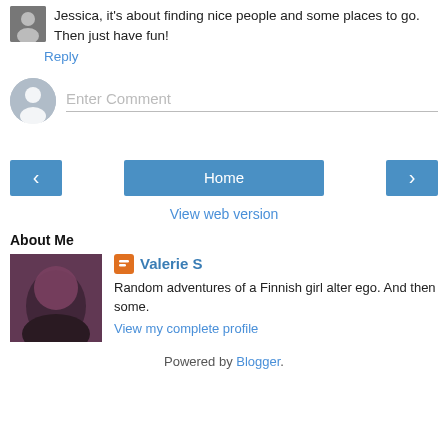Jessica, it's about finding nice people and some places to go. Then just have fun!
Reply
Enter Comment
[Figure (screenshot): Navigation buttons: left arrow, Home, right arrow]
View web version
About Me
[Figure (photo): Profile photo of Valerie S — woman with red hair]
Valerie S
Random adventures of a Finnish girl alter ego. And then some.
View my complete profile
Powered by Blogger.